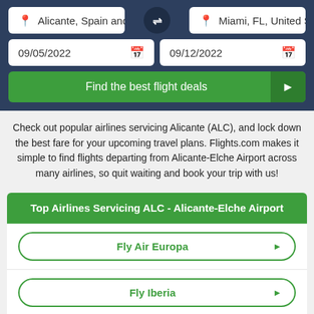[Figure (screenshot): Flight search interface with origin field 'Alicante, Spain and Cana...', destination field 'Miami, FL, United States', swap button, date fields '09/05/2022' and '09/12/2022', and a 'Find the best flight deals' button, on a dark navy background.]
Check out popular airlines servicing Alicante (ALC), and lock down the best fare for your upcoming travel plans. Flights.com makes it simple to find flights departing from Alicante-Elche Airport across many airlines, so quit waiting and book your trip with us!
Top Airlines Servicing ALC - Alicante-Elche Airport
Fly Air Europa
Fly Iberia
Fly Air Berlin